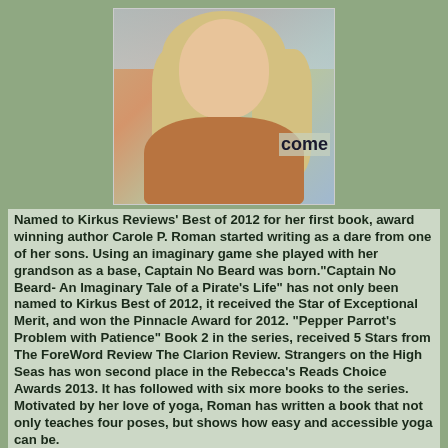[Figure (photo): Portrait photo of a blonde woman smiling, seated indoors near a window with a colorful background. A partial word 'come' is visible in the background.]
Named to Kirkus Reviews' Best of 2012 for her first book, award winning author Carole P. Roman started writing as a dare from one of her sons. Using an imaginary game she played with her grandson as a base, Captain No Beard was born."Captain No Beard- An Imaginary Tale of a Pirate's Life" has not only been named to Kirkus Best of 2012, it received the Star of Exceptional Merit, and won the Pinnacle Award for 2012. "Pepper Parrot's Problem with Patience" Book 2 in the series, received 5 Stars from The ForeWord Review The Clarion Review. Strangers on the High Seas has won second place in the Rebecca's Reads Choice Awards 2013. It has followed with six more books to the series. Motivated by her love of yoga, Roman has written a book that not only teaches four poses, but shows how easy and accessible yoga can be.